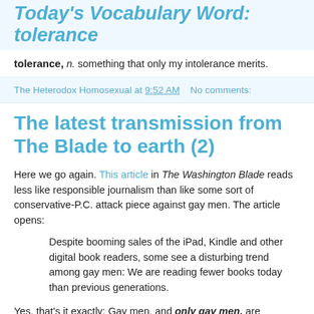Today's Vocabulary Word: tolerance
tolerance, n. something that only my intolerance merits.
The Heterodox Homosexual at 9:52 AM    No comments:
The latest transmission from The Blade to earth (2)
Here we go again. This article in The Washington Blade reads less like responsible journalism than like some sort of conservative-P.C. attack piece against gay men. The article opens:
Despite booming sales of the iPad, Kindle and other digital book readers, some see a disturbing trend among gay men: We are reading fewer books today than previous generations.
Yes, that's it exactly: Gay men, and only gay men, are